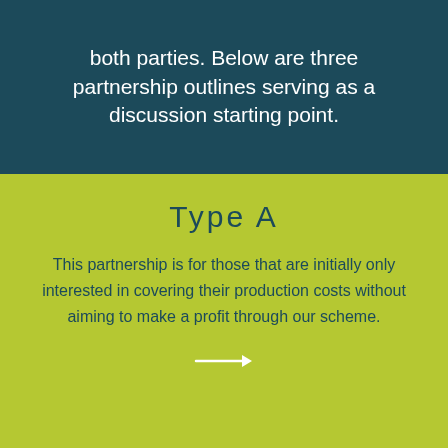both parties. Below are three partnership outlines serving as a discussion starting point.
Type A
This partnership is for those that are initially only interested in covering their production costs without aiming to make a profit through our scheme.
Type B
For partners that aim to earn a little extra revenue, we offer the possibility to circulate their items for extra 14 weeks rental once the